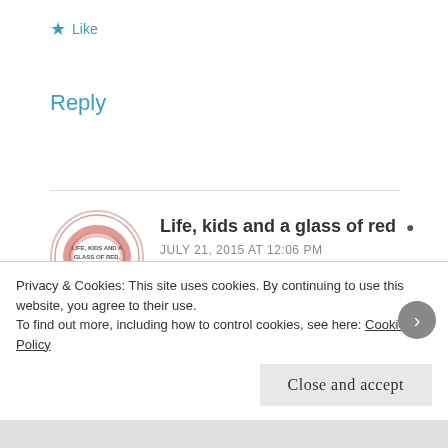★ Like
Reply
Life, kids and a glass of red 👤
JULY 21, 2015 AT 12:06 PM
Thanks! We've reintroduced bribery (get dessert if you eat your dinner and don't whinge the whole time), surprise, surprise, everything was eaten last night! Even the peas...
Privacy & Cookies: This site uses cookies. By continuing to use this website, you agree to their use.
To find out more, including how to control cookies, see here: Cookie Policy
Close and accept